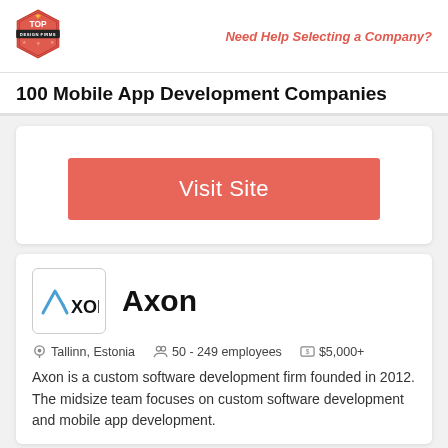Top Design Firms logo | Need Help Selecting a Company?
100 Mobile App Development Companies
Visit Site
Axon
Tallinn, Estonia   50 - 249 employees   $5,000+
Axon is a custom software development firm founded in 2012. The midsize team focuses on custom software development and mobile app development.